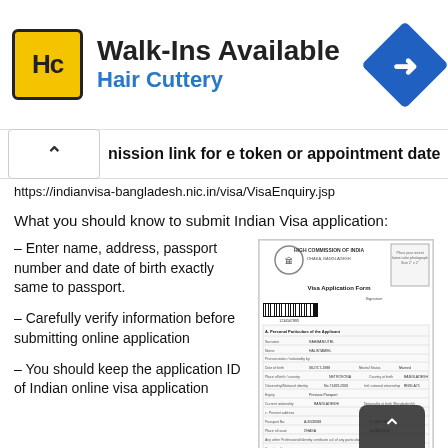[Figure (infographic): Hair Cuttery advertisement banner with logo, 'Walk-Ins Available' text and navigation icon]
mission link for e token or appointment date
https://indianvisa-bangladesh.nic.in/visa/VisaEnquiry.jsp
What you should know to submit Indian Visa application:
– Enter name, address, passport number and date of birth exactly same to passport.
– Carefully verify information before submitting online application
– You should keep the application ID of Indian online visa application
[Figure (screenshot): High Commission of India Visa Application Form document with barcode and form fields]